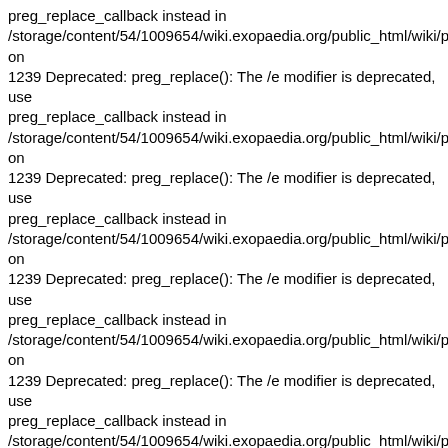preg_replace_callback instead in /storage/content/54/1009654/wiki.exopaedia.org/public_html/wiki/pmwiki.php on 1239 Deprecated: preg_replace(): The /e modifier is deprecated, use preg_replace_callback instead in /storage/content/54/1009654/wiki.exopaedia.org/public_html/wiki/pmwiki.php on 1239 Deprecated: preg_replace(): The /e modifier is deprecated, use preg_replace_callback instead in /storage/content/54/1009654/wiki.exopaedia.org/public_html/wiki/pmwiki.php on 1239 Deprecated: preg_replace(): The /e modifier is deprecated, use preg_replace_callback instead in /storage/content/54/1009654/wiki.exopaedia.org/public_html/wiki/pmwiki.php on 1239 Deprecated: preg_replace(): The /e modifier is deprecated, use preg_replace_callback instead in /storage/content/54/1009654/wiki.exopaedia.org/public_html/wiki/pmwiki.php on 1239 Deprecated: preg_replace(): The /e modifier is deprecated, use preg_replace_callback instead in /storage/content/54/1009654/wiki.exopaedia.org/public_html/wiki/pmwiki.php on 1239 Deprecated: preg_replace(): The /e modifier is deprecated, use preg_replace_callback instead in /storage/content/54/1009654/wiki.exopaedia.org/public_html/wiki/pmwiki.php on 1239 Deprecated: preg_replace(): The /e modifier is deprecated, use preg_replace_callback instead in /storage/content/54/1009654/wiki.exopaedia.org/public_html/wiki/pmwiki.php on 1239 Deprecated: preg_replace(): The /e modifier is deprecated, use preg_replace_callback instead in /storage/content/54/1009654/wiki.exopaedia.org/public_html/wiki/pmwiki.php on 1239 Deprecated: preg_replace(): The /e modifier is deprecated, use preg_replace_callback instead in